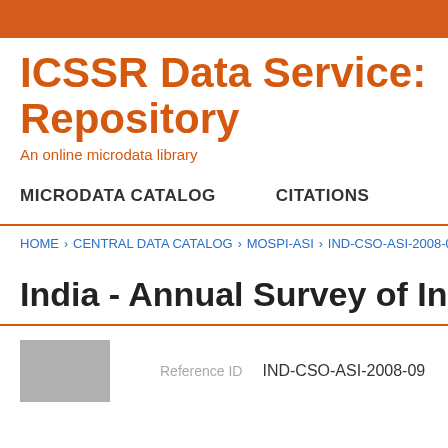ICSSR Data Service: So Repository
An online microdata library
MICRODATA CATALOG    CITATIONS
HOME › CENTRAL DATA CATALOG › MOSPI-ASI › IND-CSO-ASI-2008-09
India - Annual Survey of Indu
Reference ID   IND-CSO-ASI-2008-09